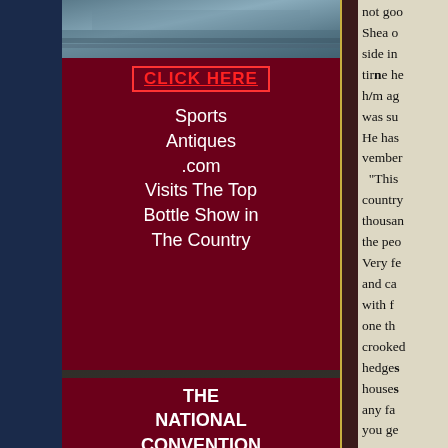[Figure (photo): Aerial/crowd photo at top of sidebar]
CLICK HERE
Sports Antiques .com Visits The Top Bottle Show in The Country
[Figure (photo): People at bottle show convention, browsing bottles on tables]
THE NATIONAL CONVENTION of the F.O.H.B.C. FEDERATION OF HISTORICAL
[Figure (photo): Partial newspaper column text visible on right side of page]
not goo
Shea o
side in
tirne he
h/m ag
was su
He has
vember
"This
country
thousan
the peo
Very fe
and ca
with f
one th
crooked
hedges
houses
any fa
you ge